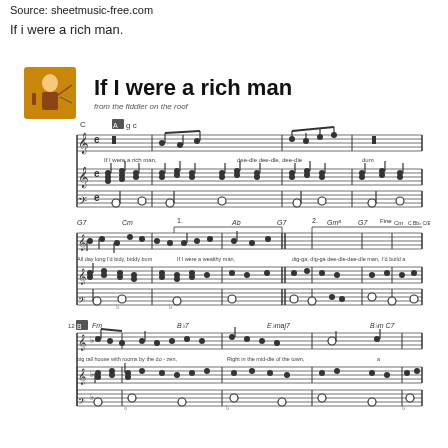Source: sheetmusic-free.com
If i were a rich man.
[Figure (illustration): Sheet music for 'If I were a rich man' from Fiddler on the Roof. Three systems of piano/vocal score showing the opening of the song with chord symbols (C, G7, Cm, Ab, Gm7, Fm, B7, Ebmaj7, Bbm, Ct) and lyrics including 'If I were a rich man, deedle deedle dee...', 'All day long I'd biddy biddy bum, If I were a wealthy man', 'dig-ga dig-ga deedle deedle dee man, I'd build a', 'big tall house with rooms by the dozen, Right in the middle of the town'. Includes a small image of a fiddler on the roof graphic top-left. Notation includes treble and bass clef staves.]